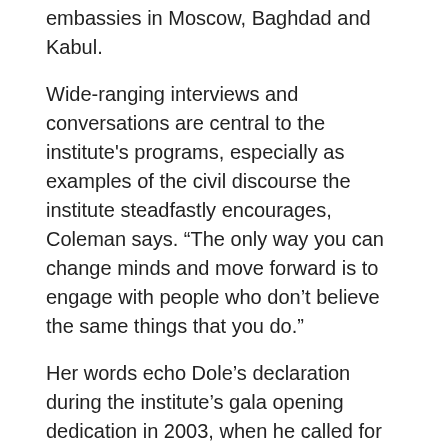embassies in Moscow, Baghdad and Kabul.
Wide-ranging interviews and conversations are central to the institute's programs, especially as examples of the civil discourse the institute steadfastly encourages, Coleman says. “The only way you can change minds and move forward is to engage with people who don’t believe the same things that you do.”
Her words echo Dole’s declaration during the institute’s gala opening dedication in 2003, when he called for the “kind of politics where conviction coexists with civility, and the clash of ideas is never confused with a holy war.”
For Coleman, the cause is personal. “My kids will be in college in 10 years. I want this to be a place where